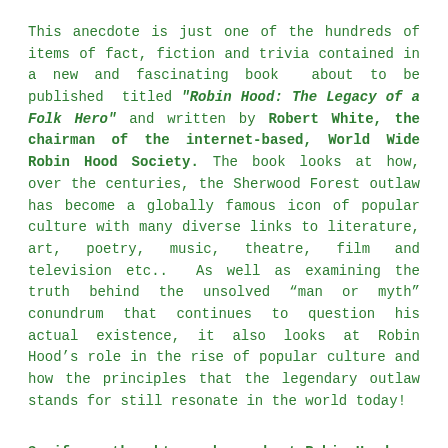This anecdote is just one of the hundreds of items of fact, fiction and trivia contained in a new and fascinating book  about to be published  titled "Robin Hood: The Legacy of a Folk Hero" and written by Robert White, the chairman of the internet-based, World Wide Robin Hood Society. The book looks at how, over the centuries, the Sherwood Forest outlaw has become a globally famous icon of popular culture with many diverse links to literature, art, poetry, music, theatre, film and television etc..  As well as examining the truth behind the unsolved “man or myth” conundrum that continues to question his actual existence, it also looks at Robin Hood’s role in the rise of popular culture and how the principles that the legendary outlaw stands for still resonate in the world today!
So if you thought you knew about Robin Hood –